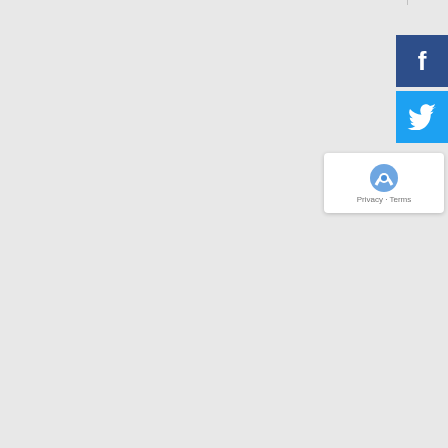Event Management
Small Business Builder
Success Stories
Other Services
Latest News
Articles
Contact Us
07 5445 2633
info@reflectedimage.com.au
PO Box 926
Buderim QLD 4556, Australia